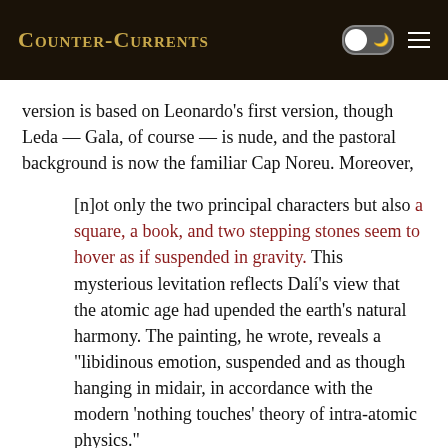Counter-Currents
version is based on Leonardo’s first version, though Leda — Gala, of course — is nude, and the pastoral background is now the familiar Cap Noreu. Moreover,
[n]ot only the two principal characters but also a square, a book, and two stepping stones seem to hover as if suspended in gravity. This mysterious levitation reflects Dalí’s view that the atomic age had upended the earth’s natural harmony. The painting, he wrote, reveals a “libidinous emotion, suspended and as though hanging in midair, in accordance with the modern ‘nothing touches’ theory of intra-atomic physics.”
This is an excellent example of how Dalí managed to be ultra-Modern while adhering to Tradition, using modern ideas to continue the Old Masters’ explorations of new